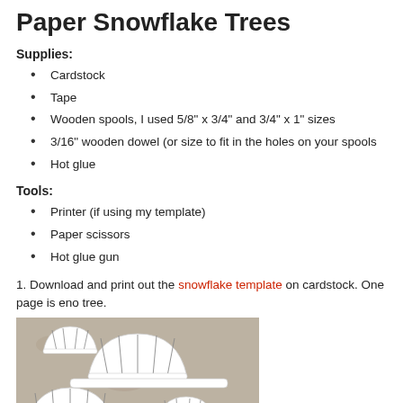Paper Snowflake Trees
Supplies:
Cardstock
Tape
Wooden spools, I used 5/8” x 3/4” and 3/4” x 1” sizes
3/16” wooden dowel (or size to fit in the holes on your spools
Hot glue
Tools:
Printer (if using my template)
Paper scissors
Hot glue gun
1. Download and print out the snowflake template on cardstock. One page is eno tree.
[Figure (photo): Cut white paper snowflake pieces laid out on a stone/concrete surface, showing various sized fan-shaped and petal-shaped pieces]